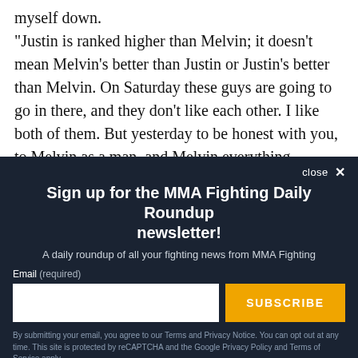myself down. "Justin is ranked higher than Melvin; it doesn't mean Melvin's better than Justin or Justin's better than Melvin. On Saturday these guys are going to go in there, and they don't like each other. I like both of them. But yesterday to be honest with you, to Melvin as a man, and Melvin everything
Sign up for the MMA Fighting Daily Roundup newsletter!
A daily roundup of all your fighting news from MMA Fighting
Email (required)
SUBSCRIBE
By submitting your email, you agree to our Terms and Privacy Notice. You can opt out at any time. This site is protected by reCAPTCHA and the Google Privacy Policy and Terms of Service apply.